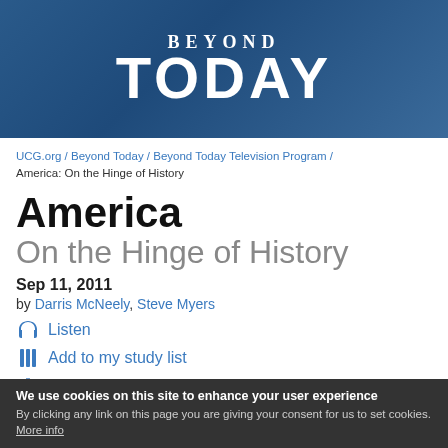[Figure (logo): Beyond Today logo — white text on blue gradient background. 'BEYOND' in smaller serif letters above 'TODAY' in large bold sans-serif letters.]
UCG.org / Beyond Today / Beyond Today Television Program / America: On the Hinge of History
America
On the Hinge of History
Sep 11, 2011
by Darris McNeely, Steve Myers
Listen
Add to my study list
Download
We use cookies on this site to enhance your user experience
By clicking any link on this page you are giving your consent for us to set cookies. More info